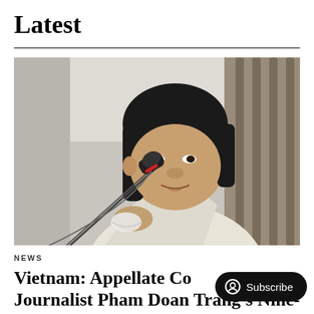Latest
[Figure (photo): A woman speaking into a microphone at a courtroom or hearing setting, holding a white face mask. She has black hair and is wearing a light-colored jacket. Wooden railings are visible in the background.]
NEWS
Vietnam: Appellate Court Upholds Journalist Pham Doan Trang's Nine-Year Imprisonment